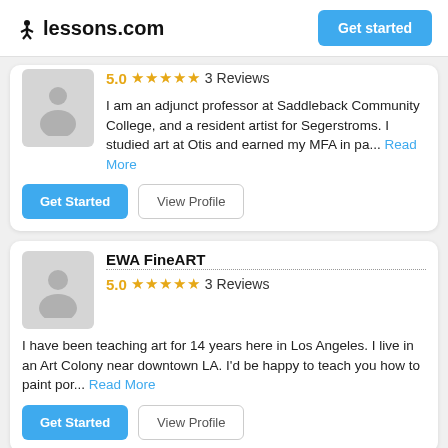lessons.com  Get started
5.0 ★★★★★ 3 Reviews
I am an adjunct professor at Saddleback Community College, and a resident artist for Segerstroms.  I studied art at Otis and earned my MFA in pa... Read More
Get Started  View Profile
EWA FineART
5.0 ★★★★★ 3 Reviews
I have been teaching art for 14 years here in Los Angeles. I live in an Art Colony near downtown LA. I'd be happy to teach you how to paint por... Read More
Get Started  View Profile